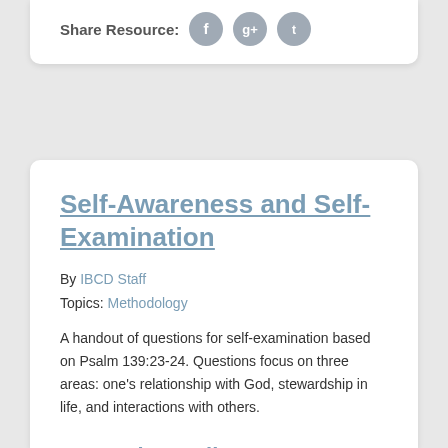Share Resource:
Self-Awareness and Self-Examination
By IBCD Staff
Topics: Methodology
A handout of questions for self-examination based on Psalm 139:23-24. Questions focus on three areas: one's relationship with God, stewardship in life, and interactions with others.
View Full Resource